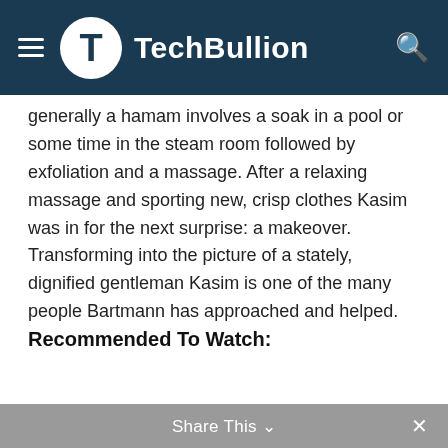TechBullion
generally a hamam involves a soak in a pool or some time in the steam room followed by exfoliation and a massage. After a relaxing massage and sporting new, crisp clothes Kasim was in for the next surprise: a makeover. Transforming into the picture of a stately, dignified gentleman Kasim is one of the many people Bartmann has approached and helped.
Recommended To Watch:
Share This ∨  ×